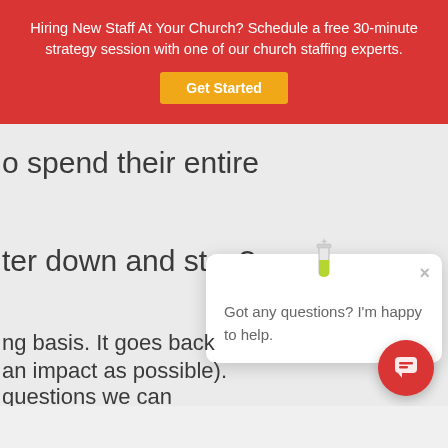Hiring New Staff At Your Church? Schedule a free 30-minute strategy session with one of our church staffing experts.
Get Started
o spend their entire
ter down and stay?
[Figure (screenshot): Chat popup widget with test tube icon, close button, and message 'Got any questions? I'm happy to help.' with red chat bubble button]
ng basis.  It goes back
an impact as possible).
questions we can